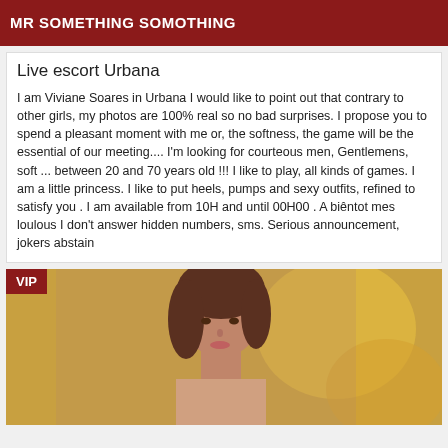MR SOMETHING SOMOTHING
Live escort Urbana
I am Viviane Soares in Urbana I would like to point out that contrary to other girls, my photos are 100% real so no bad surprises. I propose you to spend a pleasant moment with me or, the softness, the game will be the essential of our meeting.... I'm looking for courteous men, Gentlemens, soft ... between 20 and 70 years old !!! I like to play, all kinds of games. I am a little princess. I like to put heels, pumps and sexy outfits, refined to satisfy you . I am available from 10H and until 00H00 . A biêntot mes loulous I don't answer hidden numbers, sms. Serious announcement, jokers abstain
[Figure (photo): Photo of a young woman with brown hair, with a VIP badge overlay in the top-left corner, against an orange/yellow background]